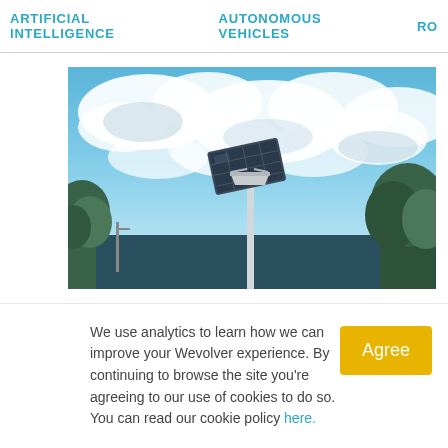ARTIFICIAL INTELLIGENCE   AUTONOMOUS VEHICLES   RO...
[Figure (photo): A solar-powered street light with a solar panel on top of a metal pole, photographed against a bright blue sky with large white clouds. Trees are visible in the background on both sides.]
We use analytics to learn how we can improve your Wevolver experience. By continuing to browse the site you're agreeing to our use of cookies to do so. You can read our cookie policy here.